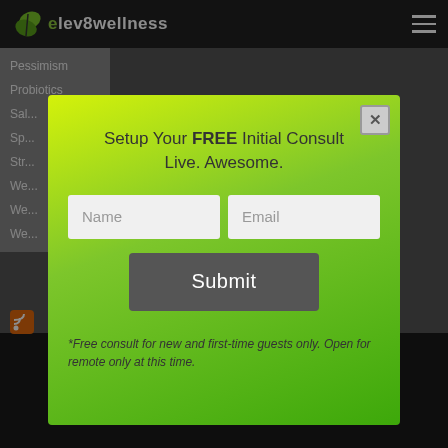[Figure (logo): Elev8wellness logo with green leaf icon and white text on dark nav bar]
Pessimism
Probiotics
Sa[cut off]
Sp[cut off]
Str[cut off]
We[cut off]
We[cut off]
We[cut off]
Setup Your FREE Initial Consult
Live. Awesome.
Name
Email
Submit
*Free consult for new and first-time guests only. Open for remote only at this time.
[Figure (logo): Elev8wellness large footer logo in dark background]